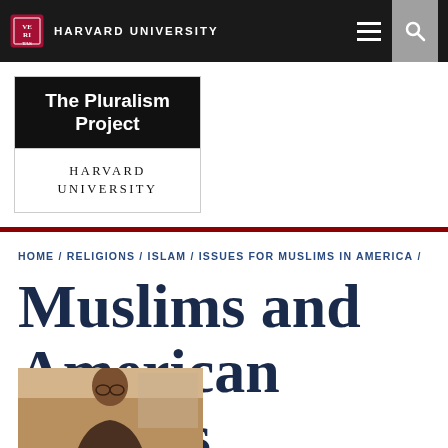HARVARD UNIVERSITY
[Figure (logo): The Pluralism Project Harvard University logo — black top section with white bold text 'The Pluralism Project', white bottom section with serif uppercase text 'HARVARD UNIVERSITY']
HOME / RELIGIONS / ISLAM / ISSUES FOR MUSLIMS IN AMERICA /
Muslims and American Politics
[Figure (photo): Partial photo of a person visible at the bottom of the page]